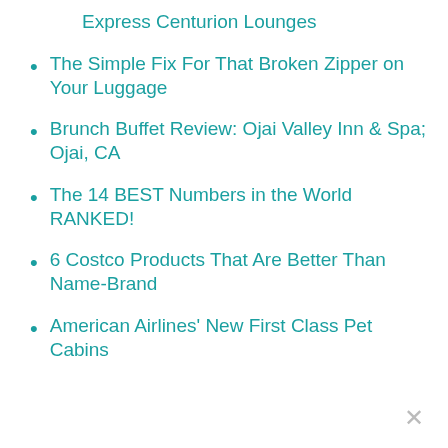Express Centurion Lounges
The Simple Fix For That Broken Zipper on Your Luggage
Brunch Buffet Review: Ojai Valley Inn & Spa; Ojai, CA
The 14 BEST Numbers in the World RANKED!
6 Costco Products That Are Better Than Name-Brand
American Airlines' New First Class Pet Cabins